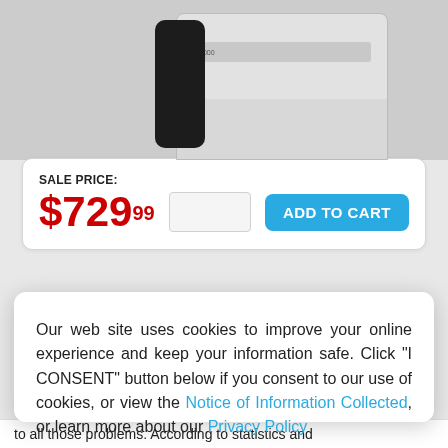[Figure (photo): Product photo showing a dark remote control and a white air conditioner/air purifier unit on a grey background]
SALE PRICE:
$729.99
ADD TO CART
Our web site uses cookies to improve your online experience and keep your information safe. Click “I CONSENT” button below if you consent to our use of cookies, or view the Notice of Information Collected, or learn more about our Privacy Policy
I CONSENT
to all those problems. According to statistics and